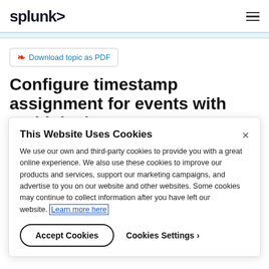splunk>
Download topic as PDF
Configure timestamp assignment for events with multiple timestamps
If an event contains more than one timestamp, you can specify
This Website Uses Cookies
We use our own and third-party cookies to provide you with a great online experience. We also use these cookies to improve our products and services, support our marketing campaigns, and advertise to you on our website and other websites. Some cookies may continue to collect information after you have left our website. Learn more here
Accept Cookies
Cookies Settings ›